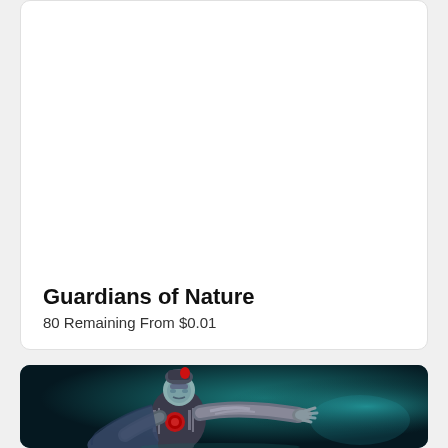[Figure (illustration): White card area with empty image space at top, containing title and subtitle text at bottom]
Guardians of Nature
80 Remaining From $0.01
[Figure (illustration): Dark teal/blue background with a 3D game character — a female figure in grey and red armor with stylized headgear, arm outstretched to the right, wearing a cape]